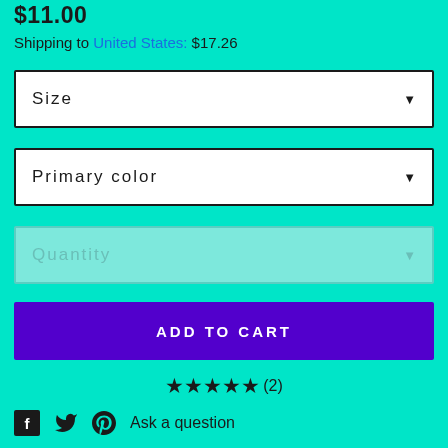$11.00
Shipping to United States: $17.26
Size (dropdown)
Primary color (dropdown)
Quantity (dropdown)
ADD TO CART
★★★★★(2)
Ask a question
Details   Shipping & Policies
OMG! Cake Topper - Engagement Cake Topper - Assorted Colours